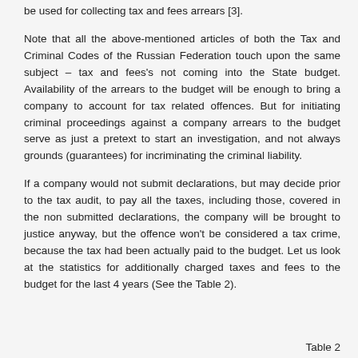be used for collecting tax and fees arrears [3].
Note that all the above-mentioned articles of both the Tax and Criminal Codes of the Russian Federation touch upon the same subject – tax and fees's not coming into the State budget. Availability of the arrears to the budget will be enough to bring a company to account for tax related offences. But for initiating criminal proceedings against a company arrears to the budget serve as just a pretext to start an investigation, and not always grounds (guarantees) for incriminating the criminal liability.
If a company would not submit declarations, but may decide prior to the tax audit, to pay all the taxes, including those, covered in the non submitted declarations, the company will be brought to justice anyway, but the offence won't be considered a tax crime, because the tax had been actually paid to the budget. Let us look at the statistics for additionally charged taxes and fees to the budget for the last 4 years (See the Table 2).
Table 2